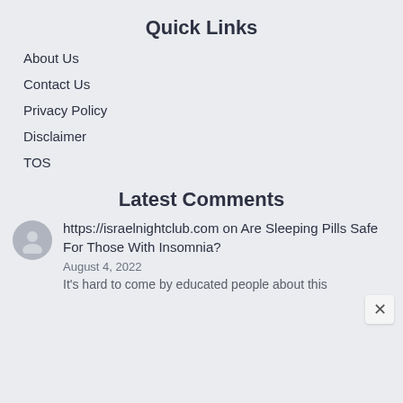Quick Links
About Us
Contact Us
Privacy Policy
Disclaimer
TOS
Latest Comments
https://israelnightclub.com on Are Sleeping Pills Safe For Those With Insomnia?
August 4, 2022
It's hard to come by educated people about this